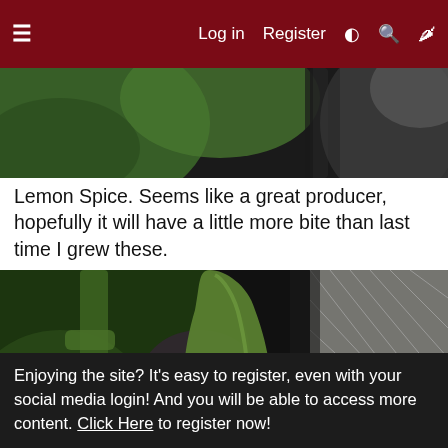Log in  Register
[Figure (photo): Top portion of a cropped photo showing green plant foliage and a dark stem against a blurred background]
Lemon Spice. Seems like a great producer, hopefully it will have a little more bite than last time I grew these.
[Figure (photo): Close-up photo of a green pepper pod (Lemon Spice variety) growing on a plant, with mesh netting visible in the background]
Enjoying the site? It's easy to register, even with your social media login! And you will be able to access more content. Click Here to register now!